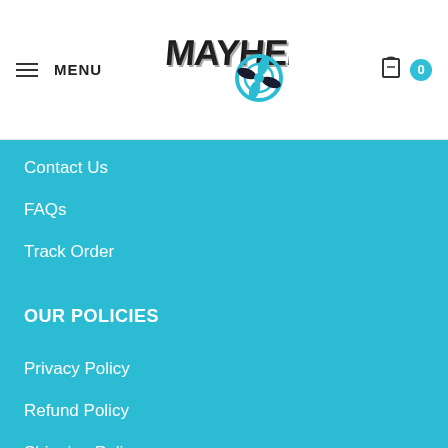MENU | MAYHEM logo | 0 cart
Contact Us
FAQs
Track Order
OUR POLICIES
Privacy Policy
Refund Policy
Shipping Policy
Terms of Service
SUBSCRIBE TO OUR NEWSLETTER